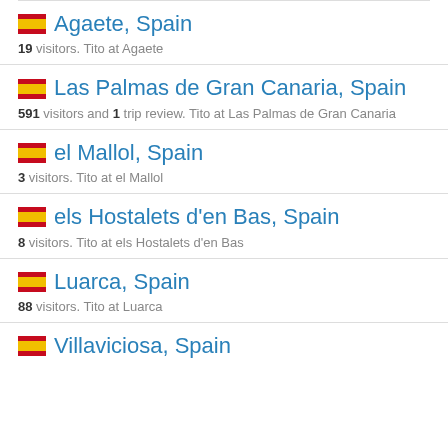Agaete, Spain — 19 visitors. Tito at Agaete
Las Palmas de Gran Canaria, Spain — 591 visitors and 1 trip review. Tito at Las Palmas de Gran Canaria
el Mallol, Spain — 3 visitors. Tito at el Mallol
els Hostalets d'en Bas, Spain — 8 visitors. Tito at els Hostalets d'en Bas
Luarca, Spain — 88 visitors. Tito at Luarca
Villaviciosa, Spain